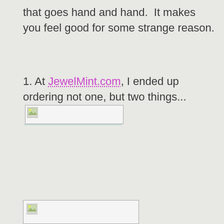that goes hand and hand.  It makes you feel good for some strange reason.
1. At JewelMint.com, I ended up ordering not one, but two things...
[Figure (photo): Broken/placeholder image thumbnail inline in text, shown as a small image icon inside a bordered box with dotted underline]
[Figure (photo): Broken/placeholder image thumbnail at bottom of page, shown as a small image icon inside a bordered box]